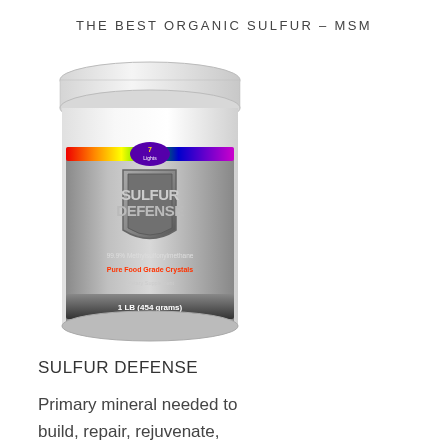THE BEST ORGANIC SULFUR – MSM
[Figure (photo): White cylindrical supplement container labeled 'Sulfur Defense' by 7 Lights. Label features a shield graphic with text: 99.9% Methylsulfonylmethane, Pure Food Grade Crystals, Dietary Supplement, 1 LB (454 grams). Rainbow stripe at top of label.]
SULFUR DEFENSE
Primary mineral needed to build, repair, rejuvenate, nourish, and cleanse the cells of the